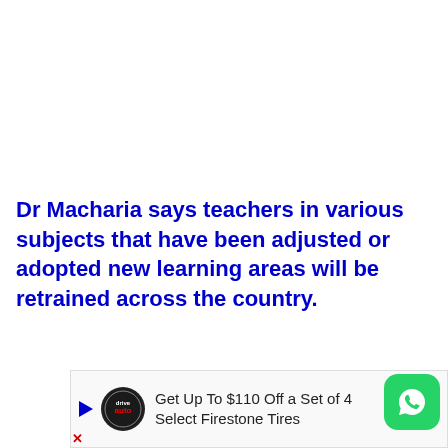Dr Macharia says teachers in various subjects that have been adjusted or adopted new learning areas will be retrained across the country.
[Figure (screenshot): Advertisement banner: Get Up To $110 Off a Set of 4 Select Firestone Tires, with AutoZone logo, blue diamond arrow icon, and WhatsApp icon button]